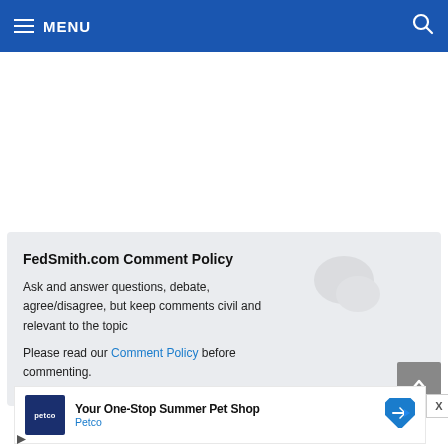MENU
FedSmith.com Comment Policy
Ask and answer questions, debate, agree/disagree, but keep comments civil and relevant to the topic
Please read our Comment Policy before commenting.
[Figure (other): Advertisement: Petco - Your One-Stop Summer Pet Shop]
[Figure (other): Ad play/close controls]